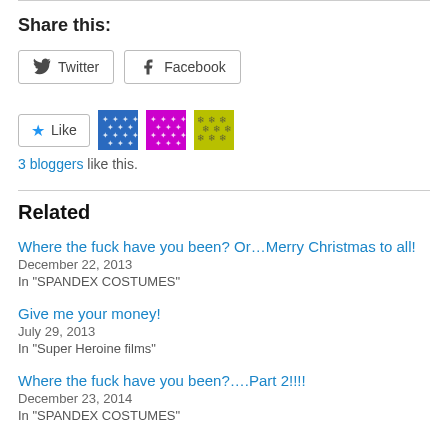Share this:
Twitter | Facebook (share buttons)
Like | [3 blogger avatars]
3 bloggers like this.
Related
Where the fuck have you been? Or…Merry Christmas to all!
December 22, 2013
In "SPANDEX COSTUMES"
Give me your money!
July 29, 2013
In "Super Heroine films"
Where the fuck have you been?….Part 2!!!!
December 23, 2014
In "SPANDEX COSTUMES"